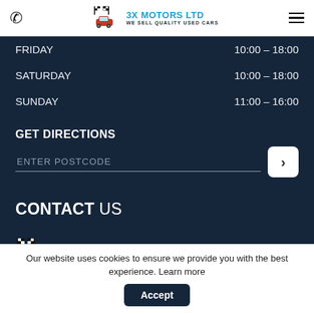3X MOTORS LTD — WE SELL QUALITY USED CARS
FRIDAY   10:00 – 18:00
SATURDAY   10:00 – 18:00
SUNDAY   11:00 – 16:00
GET DIRECTIONS
ENTER POSTCODE
CONTACT US
[Figure (logo): 3X Motors Ltd logo with racing flags and red car, tagline WE SELL QUALITY USED CARS]
Our website uses cookies to ensure we provide you with the best experience. Learn more